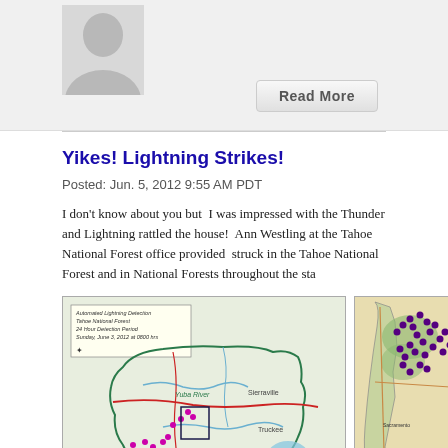[Figure (illustration): Gray placeholder avatar/profile image with silhouette of person]
Read More
Yikes! Lightning Strikes!
Posted: Jun. 5, 2012 9:55 AM PDT
I don't know about you but  I was impressed with the Thunder and Lightning rattled the house!  Ann Westling at the Tahoe National Forest office provided  struck in the Tahoe National Forest and in National Forests throughout the sta
[Figure (map): Automated Lightning Detection map of Tahoe National Forest, 24 Hour Detection Period, Sunday June 3, 2012 at 0800 hrs. Shows lightning strike locations with colored markers over topographic map of Tahoe NF area including Yuba River, Sierraville, American River, Truckee, Lake Tahoe regions.]
[Figure (map): California state map showing lightning strike locations as purple/dark dots, concentrated in Northern California region with coastal and inland areas visible.]